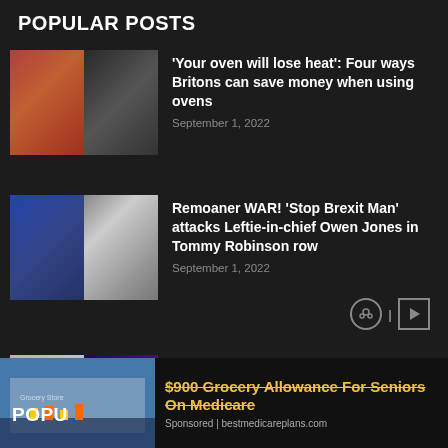POPULAR POSTS
[Figure (photo): Two thumbnail images: woman in kitchen and oven with roasting food]
'Your oven will lose heat': Four ways Britons can save money when using ovens
September 1, 2022
[Figure (photo): Two thumbnail images: man with EU sign and man shouting into megaphone]
Remoaner WAR! 'Stop Brexit Man' attacks Leftie-in-chief Owen Jones in Tommy Robinson row
September 1, 2022
[Figure (photo): Two thumbnail images: Lea Michele portrait and Funny Girl stage show]
Lea Michele on 'Funny Girl' controversy: 'I leave no room for mistakes'
September 1, 2022
[Figure (photo): Advertisement image: grocery store aisle]
$900 Grocery Allowance For Seniors On Medicare
Sponsored | bestmedicareplans.com